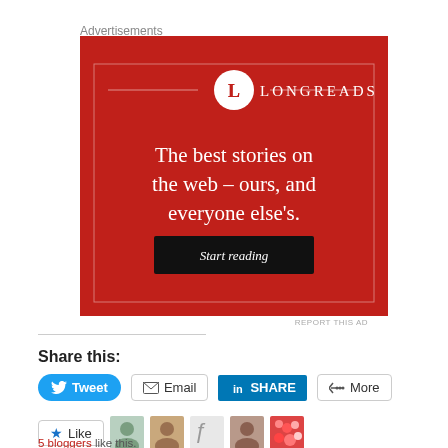Advertisements
[Figure (illustration): Longreads advertisement banner with red background. Shows the Longreads logo (L in a circle) and text: 'The best stories on the web – ours, and everyone else's.' with a 'Start reading' button.]
REPORT THIS AD
Share this:
Tweet
Email
SHARE
More
Like
5 bloggers like this.